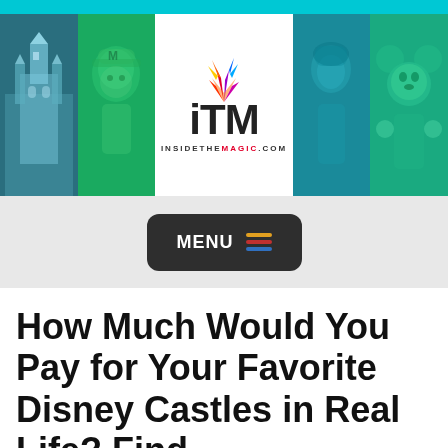[Figure (screenshot): InsideTheMagic.com website header banner featuring ITM logo with colorful spark/flame graphic, castle image on left, Mario character in center-left, anime character on right, Mickey Mouse on far right, all with teal/green color overlay]
[Figure (other): Dark rounded rectangle MENU button with colorful horizontal lines icon (orange, red, blue)]
How Much Would You Pay for Your Favorite Disney Castles in Real Life? Find Out Here!